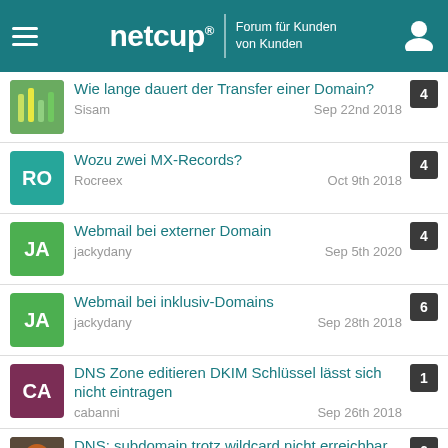netcup® Forum für Kunden von Kunden
Wie lange dauert der Transfer einer Domain? | Sisam | Sep 22nd 2018 | 4 replies
Wozu zwei MX-Records? | Rocreex | Oct 9th 2018 | 4 replies
Webmail bei externer Domain | jackydany | Sep 5th 2020 | 4 replies
Webmail bei inklusiv-Domains | jackydany | Sep 28th 2018 | 6 replies
DNS Zone editieren DKIM Schlüssel lässt sich nicht eintragen | cabanni | Sep 26th 2018 | 1 reply
DNS: subdomain trotz wildcard nicht erreichbar | darth erfinder | Sep 30th 2018 | 6 replies
Roundcube Webmail - Netcup nutzt alte Version | 7 replies